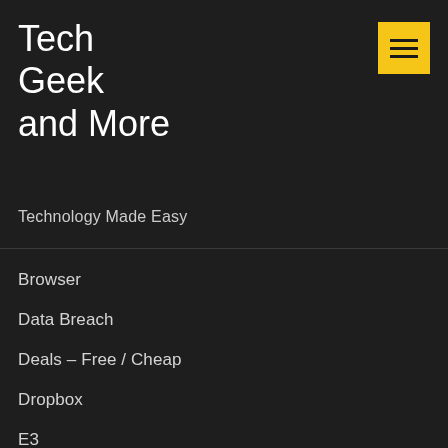Tech Geek and More
Technology Made Easy
Browser
Data Breach
Deals – Free / Cheap
Dropbox
E3
ELEAGUE
En Español
Facebook